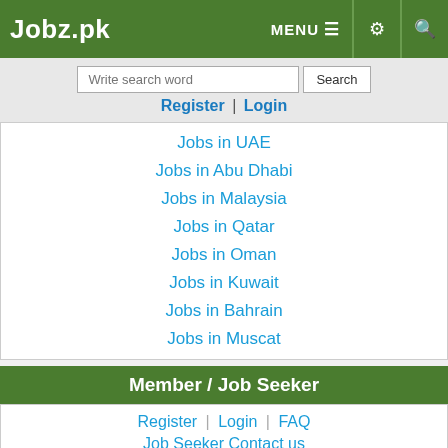Jobz.pk | MENU | Settings | Search
Write search word | Search
Register | Login
Jobs in UAE
Jobs in Abu Dhabi
Jobs in Malaysia
Jobs in Qatar
Jobs in Oman
Jobs in Kuwait
Jobs in Bahrain
Jobs in Muscat
Member / Job Seeker
Register | Login | FAQ
Job Seeker Contact us
Close x
0 Share | 0 WhatsApp | 0 Tweet | 0 Share | 0 Reddit | 0 Pin
Subscribe
Alerts | Register | Login
Recruiter Contact us